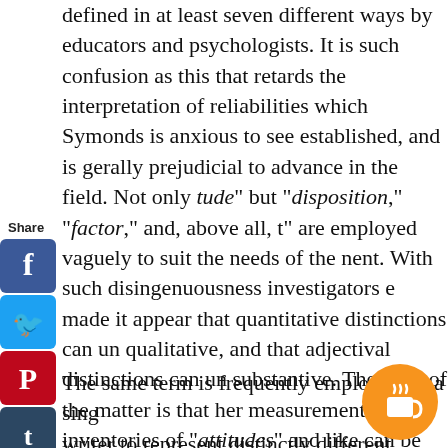pointed out another connection that "attitudes" are defined in at least seven different ways by educators and psychologists. It is such confusion as this that retards the interpretation of reliabilities which Symonds is anxious to see established, and is generally prejudicial to advance in the field. Not only "attitude" but "disposition," "factor," and, above all, "t" are employed vaguely to suit the needs of the nent. With such disingenuousness investigators e made it appear that quantitative distinctions can un qualitative, and that adjectival distinctions can un substantive. The truth of the matter is that her measurement nor inventories of "attitudes" and like can be intelligible until the substantives nselves are clearly understood.
[Figure (other): Social share sidebar with Facebook, Twitter, Pinterest, Tumblr, Reddit, WhatsApp, and Messenger icons]
The same term is frequently employed by a single writer to represent distinctly different levels of